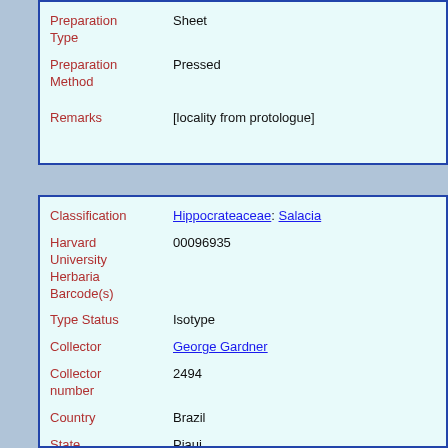| Field | Value |
| --- | --- |
| Preparation Type | Sheet |
| Preparation Method | Pressed |
| Remarks | [locality from protologue] |
| Field | Value |
| --- | --- |
| Classification | Hippocrateaceae: Salacia |
| Harvard University Herbaria Barcode(s) | 00096935 |
| Type Status | Isotype |
| Collector | George Gardner |
| Collector number | 2494 |
| Country | Brazil |
| State | Piaui |
| Geography | South America: South America (Region) (Region): Brazil: |
| Date | 1839 |